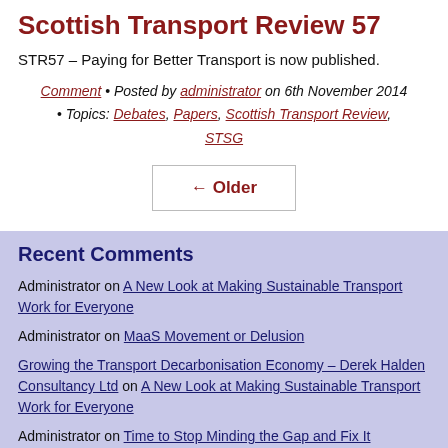Scottish Transport Review 57
STR57 – Paying for Better Transport is now published.
Comment • Posted by administrator on 6th November 2014 • Topics: Debates, Papers, Scottish Transport Review, STSG
← Older
Recent Comments
Administrator on A New Look at Making Sustainable Transport Work for Everyone
Administrator on MaaS Movement or Delusion
Growing the Transport Decarbonisation Economy – Derek Halden Consultancy Ltd on A New Look at Making Sustainable Transport Work for Everyone
Administrator on Time to Stop Minding the Gap and Fix It
Administrator on What Should Local Authorities Include in